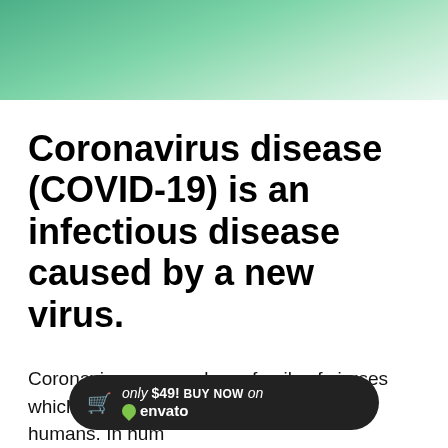[Figure (illustration): Green gradient header background panel with light bokeh effect]
Coronavirus disease (COVID-19) is an infectious disease caused by a new virus.
Coronaviruses are a large family of viruses which may cause illness in animals or humans. In hum... own to cause r... m the
[Figure (other): Envato promotional banner: only $49! BUY NOW on envato]